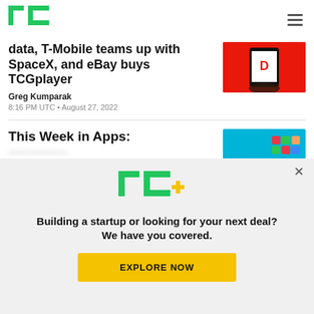TechCrunch
data, T-Mobile teams up with SpaceX, and eBay buys TCGplayer
Greg Kumparak
8:16 PM UTC • August 27, 2022
[Figure (photo): DoorDash logo on a smartphone on a red background]
This Week in Apps:
[Figure (screenshot): Colorful app icons on blue background]
[Figure (logo): TC+ logo in green and yellow]
Building a startup or looking for your next deal? We have you covered.
EXPLORE NOW